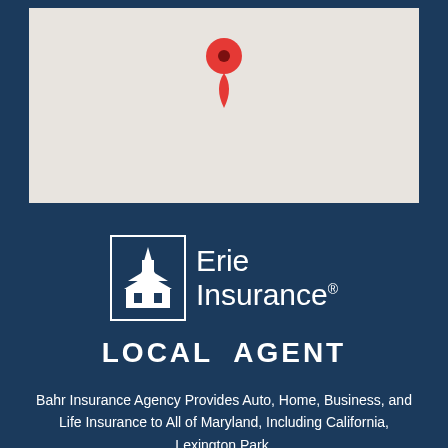[Figure (map): A Google Maps-style map with a red location pin marker positioned in the upper-center area of the map, indicating a specific location.]
[Figure (logo): Erie Insurance logo — building/church icon inside a white rectangle border, with 'Erie Insurance' text and registered trademark symbol in white]
LOCAL AGENT
Bahr Insurance Agency Provides Auto, Home, Business, and Life Insurance to All of Maryland, Including California, Lexington Park,